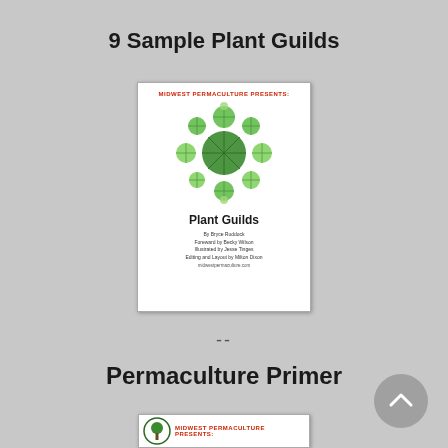9 Sample Plant Guilds
[Figure (illustration): Book cover for 'Plant Guilds' by Bryce Ruddock, Midwest Permaculture Presents. Shows circular arrangement of plant illustrations (top-view trees/shrubs) in green. Credits: Foreward by Becky Wilson, Illustrated by Jesse Tinges, Editing and Layout by Milton Dixon.]
--
Permaculture Primer
[Figure (illustration): Partial view of a second book cover, Midwest Permaculture Presents, with a tree logo visible.]